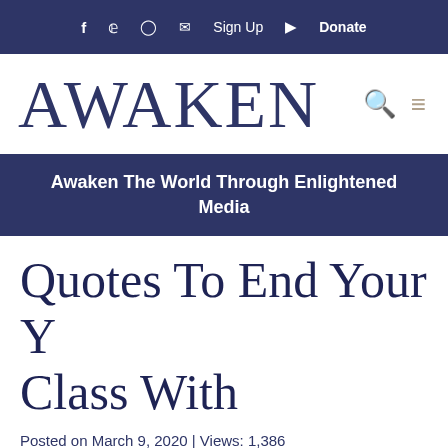f  ✓  □  ✉ Sign Up  ▶ Donate
AWAKEN
Awaken The World Through Enlightened Media
Quotes To End Your Yoga Class With
Posted on March 9, 2020 | Views: 1,386